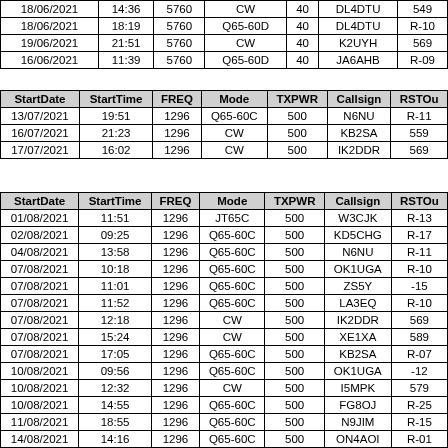| StartDate | StartTime | FREQ | Mode | TXPWR | Callsign | RSTOu |
| --- | --- | --- | --- | --- | --- | --- |
| 18/06/2021 | 14:36 | 5760 | CW | 40 | DL4DTU | 549 |
| 18/06/2021 | 18:19 | 5760 | Q65-60D | 40 | DL4DTU | R-10 |
| 19/06/2021 | 21:51 | 5760 | CW | 40 | K2UYH | 569 |
| 16/06/2021 | 11:39 | 5760 | Q65-60D | 40 | JA6AHB | R-09 |
| StartDate | StartTime | FREQ | Mode | TXPWR | Callsign | RSTOu |
| --- | --- | --- | --- | --- | --- | --- |
| 13/07/2021 | 19:51 | 1296 | Q65-60C | 500 | N6NU | R-11 |
| 16/07/2021 | 21:23 | 1296 | CW | 500 | KB2SA | 559 |
| 17/07/2021 | 16:02 | 1296 | CW | 500 | IK2DDR | 569 |
| StartDate | StartTime | FREQ | Mode | TXPWR | Callsign | RSTOu |
| --- | --- | --- | --- | --- | --- | --- |
| 01/08/2021 | 11:51 | 1296 | JT65C | 500 | W3CJK | R-13 |
| 02/08/2021 | 09:25 | 1296 | Q65-60C | 500 | KD5CHG | R-17 |
| 04/08/2021 | 13:58 | 1296 | Q65-60C | 500 | N6NU | R-11 |
| 07/08/2021 | 10:18 | 1296 | Q65-60C | 500 | OK1UGA | R-10 |
| 07/08/2021 | 11:01 | 1296 | Q65-60C | 500 | ZS5Y | -15 |
| 07/08/2021 | 11:52 | 1296 | Q65-60C | 500 | LA3EQ | R-10 |
| 07/08/2021 | 12:18 | 1296 | CW | 500 | IK2DDR | 569 |
| 07/08/2021 | 15:24 | 1296 | CW | 500 | XE1XA | 589 |
| 07/08/2021 | 17:05 | 1296 | Q65-60C | 500 | KB2SA | R-07 |
| 10/08/2021 | 09:56 | 1296 | Q65-60C | 500 | OK1UGA | -12 |
| 10/08/2021 | 12:32 | 1296 | CW | 500 | I5MPK | 579 |
| 10/08/2021 | 14:55 | 1296 | Q65-60C | 500 | FG8OJ | R-25 |
| 11/08/2021 | 18:55 | 1296 | Q65-60C | 500 | N9JIM | R-15 |
| 14/08/2021 | 14:16 | 1296 | Q65-60C | 500 | ON4AOI | R-01 |
| 08/08/2021 | 08:57 | 1296 | Q65-60C | 500 | VE77D | R-01 |